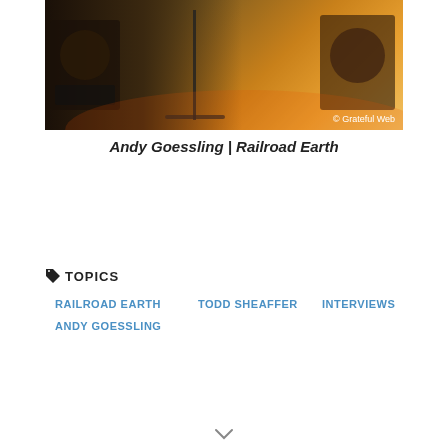[Figure (photo): Concert photo of Andy Goessling of Railroad Earth on stage with instruments, warm orange stage lighting. Copyright Grateful Web watermark in bottom right.]
Andy Goessling | Railroad Earth
TOPICS
RAILROAD EARTH
TODD SHEAFFER
INTERVIEWS
ANDY GOESSLING
[Figure (other): Orange advertisement banner for Direct Relief: 'Help send medical aid to Ukraine >>' with Direct Relief logo on the right.]